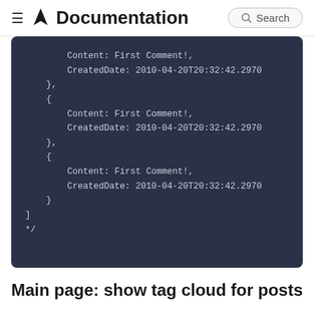Documentation | Search
[Figure (screenshot): Dark-themed code block showing JSON-like data with Content and CreatedDate fields in curly braces, with closing brackets and comment marker.]
Main page: show tag cloud for posts